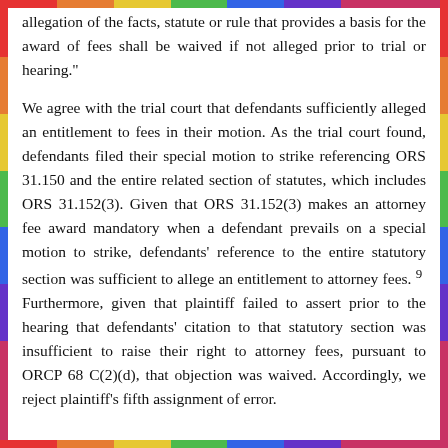allegation of the facts, statute or rule that provides a basis for the award of fees shall be waived if not alleged prior to trial or hearing."
We agree with the trial court that defendants sufficiently alleged an entitlement to fees in their motion. As the trial court found, defendants filed their special motion to strike referencing ORS 31.150 and the entire related section of statutes, which includes ORS 31.152(3). Given that ORS 31.152(3) makes an attorney fee award mandatory when a defendant prevails on a special motion to strike, defendants' reference to the entire statutory section was sufficient to allege an entitlement to attorney fees. 9  Furthermore, given that plaintiff failed to assert prior to the hearing that defendants' citation to that statutory section was insufficient to raise their right to attorney fees, pursuant to ORCP 68 C(2)(d), that objection was waived. Accordingly, we reject plaintiff's fifth assignment of error.